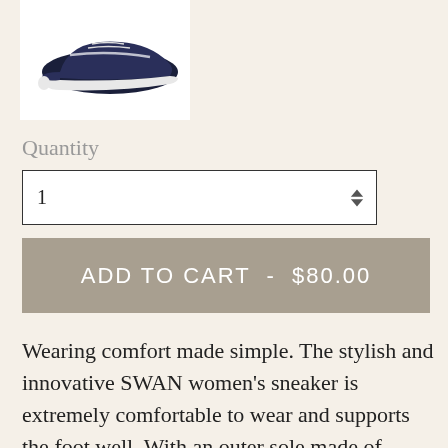[Figure (photo): Dark navy/black women's sneaker with white sole, shown from the side on a white background]
Quantity
1
ADD TO CART  -  $80.00
Wearing comfort made simple. The stylish and innovative SWAN women's sneaker is extremely comfortable to wear and supports the foot well. With an outer sole made of rubber and stretch material,